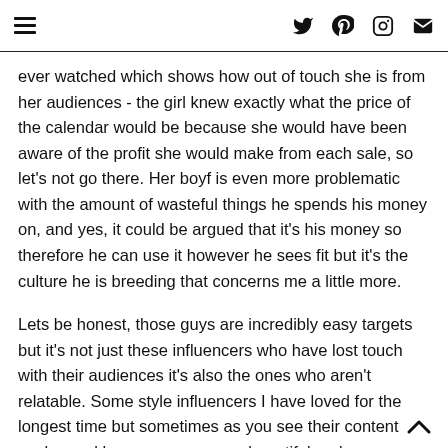Navigation menu and social icons (Twitter, Pinterest, Instagram, Email)
ever watched which shows how out of touch she is from her audiences - the girl knew exactly what the price of the calendar would be because she would have been aware of the profit she would make from each sale, so let's not go there. Her boyf is even more problematic with the amount of wasteful things he spends his money on, and yes, it could be argued that it's his money so therefore he can use it however he sees fit but it's the culture he is breeding that concerns me a little more.
Lets be honest, those guys are incredibly easy targets but it's not just these influencers who have lost touch with their audiences it's also the ones who aren't relatable. Some style influencers I have loved for the longest time but sometimes as you see their content evolve and become even more beautiful and even more creative which lead me to feel a little disconnected because I no longer felt like their content was relevant to me, it's for people who can